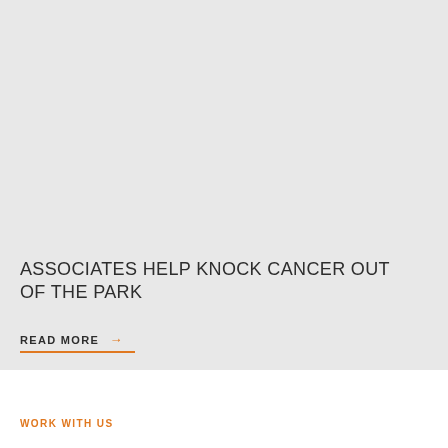ASSOCIATES HELP KNOCK CANCER OUT OF THE PARK
READ MORE →
WORK WITH US